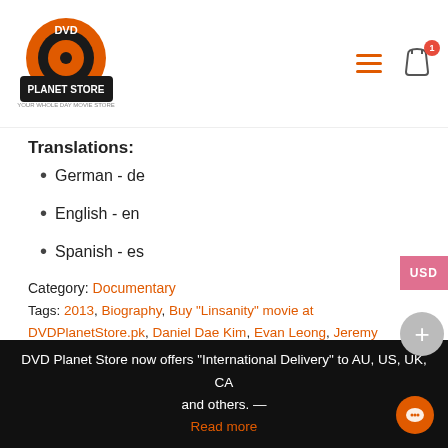DVD Planet Store logo and navigation
Translations:
German - de
English - en
Spanish - es
Category: Documentary
Tags: 2013, Biography, Buy "Linsanity" movie at DVDPlanetStore.pk, Daniel Dae Kim, Evan Leong, Jeremy Lin, Ming Yao, New Release, Sport, True Story
DVD Planet Store now offers "International Delivery" to AU, US, UK, CA and others. — Read more